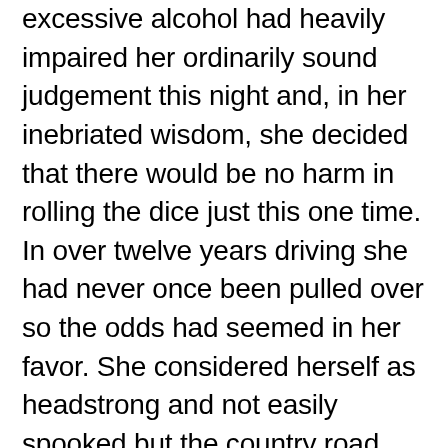excessive alcohol had heavily impaired her ordinarily sound judgement this night and, in her inebriated wisdom, she decided that there would be no harm in rolling the dice just this one time. In over twelve years driving she had never once been pulled over so the odds had seemed in her favor. She considered herself as headstrong and not easily spooked but the country road she had broken down on was anything but inviting and way off the beaten track. “It’s now or never Cassandra. Time to get your freak on girl.” She started off on the potentially lengthy walk ahead. “No turning back now.”